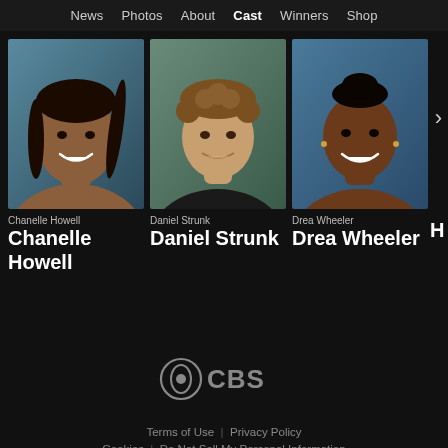News  Photos  About  Cast  Winners  Shop
[Figure (photo): Headshot of Chanelle Howell, a young Black woman with braids, smiling, outdoor background]
Chanelle Howell
Chanelle Howell
[Figure (photo): Headshot of Daniel Strunk, a young white man with curly brown hair, wearing a dark shirt, smiling]
Daniel Strunk
Daniel Strunk
[Figure (photo): Headshot of Drea Wheeler, a Black woman with hair up, smiling, outdoor background]
Drea Wheeler
Drea Wheeler
[Figure (logo): CBS eye logo with CBS text in grey on dark background]
Terms of Use  |  Privacy Policy  Cookies  |  Do Not Sell My Personal Information